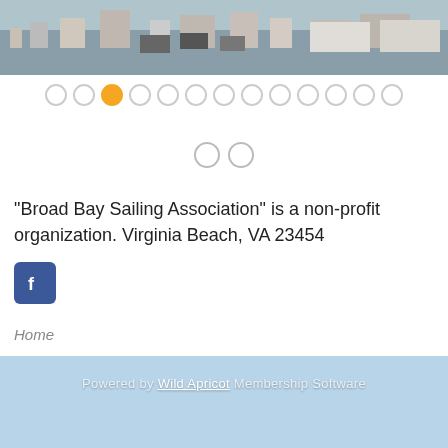[Figure (photo): Aerial view of a marina with boats and docks]
[Figure (other): Carousel navigation dots, third dot highlighted in orange]
[Figure (other): Two small navigation circles]
"Broad Bay Sailing Association" is a non-profit organization. Virginia Beach, VA 23454
[Figure (logo): Facebook icon button]
Home
[Figure (photo): Sailboats on water with blue sky background]
Powered by Wild Apricot Membership Software